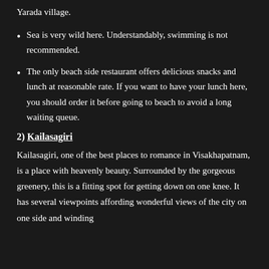Yarada village.
Sea is very wild here. Understandably, swimming is not recommended.
The only beach side restaurant offers delicious snacks and lunch at reasonable rate. If you want to have your lunch here, you should order it before going to beach to avoid a long waiting queue.
2) Kailasagiri
Kailasagiri, one of the best places to romance in Visakhapatnam, is a place with heavenly beauty. Surrounded by the gorgeous greenery, this is a fitting spot for getting down on one knee. It has several viewpoints affording wonderful views of the city on one side and winding